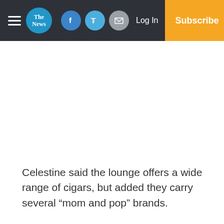The News — Log In — Subscribe
Celestine said the lounge offers a wide range of cigars, but added they carry several “mom and pop” brands.